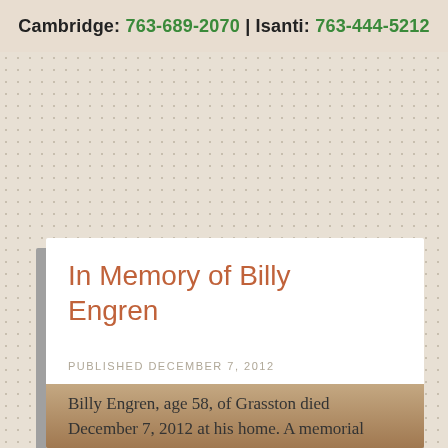Cambridge: 763-689-2070 | Isanti: 763-444-5212
In Memory of Billy Engren
PUBLISHED DECEMBER 7, 2012
Billy Engren, age 58, of Grasston died December 7, 2012 at his home. A memorial